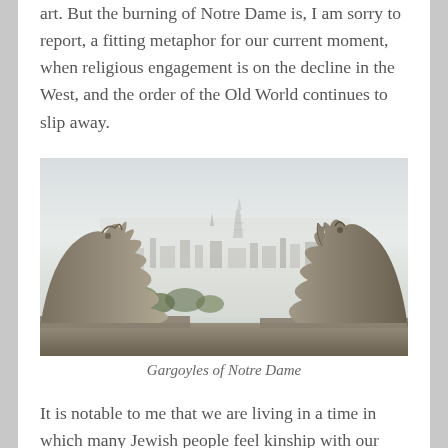art. But the burning of Notre Dame is, I am sorry to report, a fitting metaphor for our current moment, when religious engagement is on the decline in the West, and the order of the Old World continues to slip away.
[Figure (photo): Photo of two gargoyle stone statues on Notre Dame cathedral looking out over the city of Paris, with the Eiffel Tower visible in the misty background.]
Gargoyles of Notre Dame
It is notable to me that we are living in a time in which many Jewish people feel kinship with our Christian